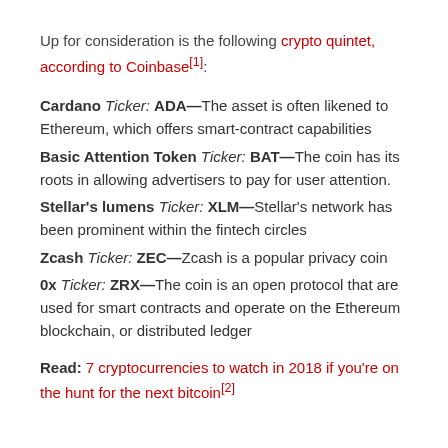Up for consideration is the following crypto quintet, according to Coinbase[1]:
Cardano Ticker: ADA—The asset is often likened to Ethereum, which offers smart-contract capabilities
Basic Attention Token Ticker: BAT—The coin has its roots in allowing advertisers to pay for user attention.
Stellar's lumens Ticker: XLM—Stellar's network has been prominent within the fintech circles
Zcash Ticker: ZEC—Zcash is a popular privacy coin
0x Ticker: ZRX—The coin is an open protocol that are used for smart contracts and operate on the Ethereum blockchain, or distributed ledger
Read: 7 cryptocurrencies to watch in 2018 if you're on the hunt for the next bitcoin[2]